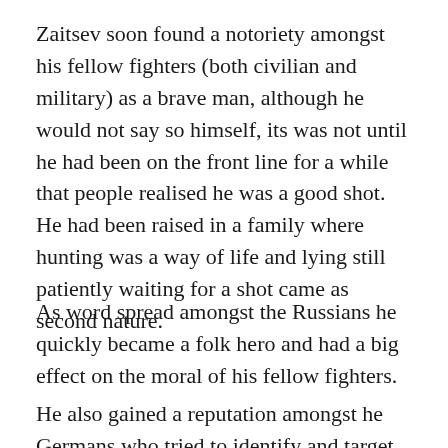Zaitsev soon found a notoriety amongst his fellow fighters (both civilian and military) as a brave man, although he would not say so himself, its was not until he had been on the front line for a while that people realised he was a good shot. He had been raised in a family where hunting was a way of life and lying still patiently waiting for a shot came as second nature.
As word spread amongst the Russians he quickly became a folk hero and had a big effect on the moral of his fellow fighters.
He also gained a reputation amongst he Germans who tried to identify and target him.